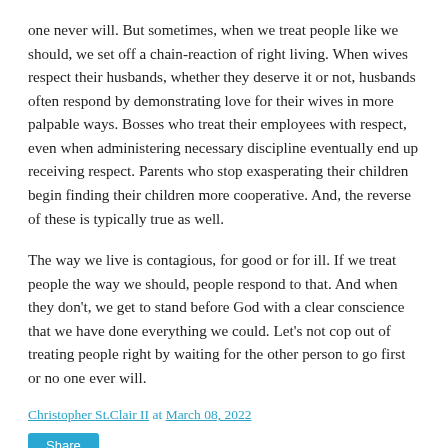one never will. But sometimes, when we treat people like we should, we set off a chain-reaction of right living. When wives respect their husbands, whether they deserve it or not, husbands often respond by demonstrating love for their wives in more palpable ways. Bosses who treat their employees with respect, even when administering necessary discipline eventually end up receiving respect. Parents who stop exasperating their children begin finding their children more cooperative. And, the reverse of these is typically true as well.
The way we live is contagious, for good or for ill. If we treat people the way we should, people respond to that. And when they don't, we get to stand before God with a clear conscience that we have done everything we could. Let's not cop out of treating people right by waiting for the other person to go first or no one ever will.
Christopher St.Clair II at March 08, 2022
Share